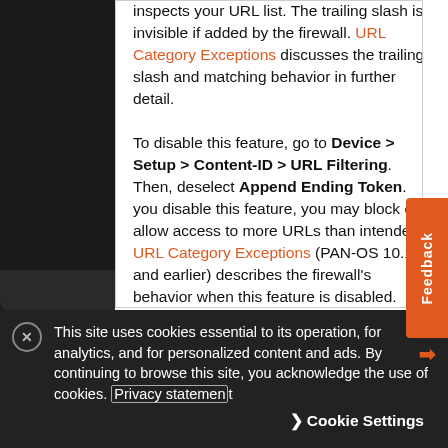behavior of an entry for anyone who inspects your URL list. The trailing slash is invisible if added by the firewall. URL Category Exceptions discusses the trailing slash and matching behavior in further detail.

To disable this feature, go to Device > Setup > Content-ID > URL Filtering. Then, deselect Append Ending Token. you disable this feature, you may block or allow access to more URLs than intended. URL Category Exceptions (PAN-OS 10.1 and earlier) describes the firewall's behavior when this feature is disabled.
This site uses cookies essential to its operation, for analytics, and for personalized content and ads. By continuing to browse this site, you acknowledge the use of cookies. Privacy statement
Cookie Settings